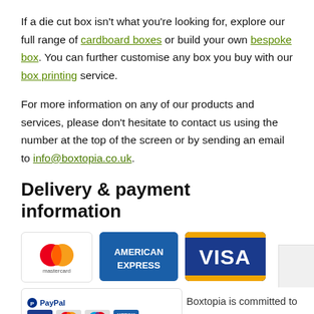If a die cut box isn't what you're looking for, explore our full range of cardboard boxes or build your own bespoke box. You can further customise any box you buy with our box printing service.
For more information on any of our products and services, please don't hesitate to contact us using the number at the top of the screen or by sending an email to info@boxtopia.co.uk.
Delivery & payment information
[Figure (other): Payment logos: Mastercard, American Express, Visa, PayPal with Visa/MasterCard/Maestro/Amex icons]
Boxtopia is committed to